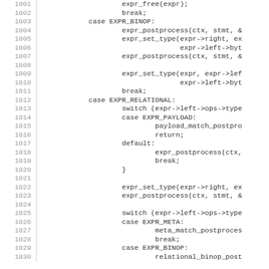Source code listing lines 1001-1030+, showing C code with switch/case expressions for EXPR_BINOP and EXPR_RELATIONAL handling, including expr_postprocess, expr_set_type, payload_match_postprocess, meta_match_postprocess, relational_binop_post functions.